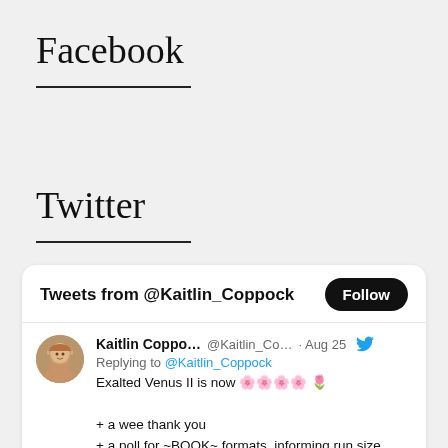Facebook
Twitter
[Figure (screenshot): Twitter widget showing tweets from @Kaitlin_Coppock with a Follow button, and a tweet by Kaitlin Coppo... replying to @Kaitlin_Coppock dated Aug 25: 'Exalted Venus II is now 🌹 + a wee thank you + a poll for ~BOOK~ formats, informing run size + incoming interview announcement?']